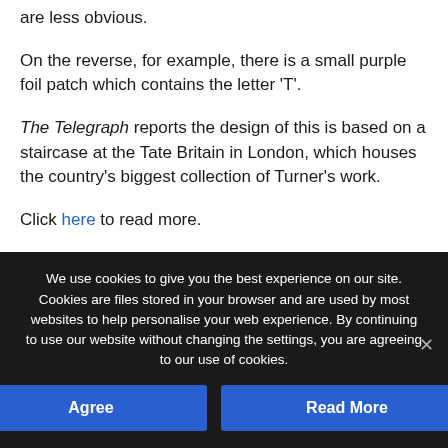are less obvious.
On the reverse, for example, there is a small purple foil patch which contains the letter ‘T’.
The Telegraph reports the design of this is based on a staircase at the Tate Britain in London, which houses the country’s biggest collection of Turner’s work.
Click here to read more.
We use cookies to give you the best experience on our site. Cookies are files stored in your browser and are used by most websites to help personalise your web experience. By continuing to use our website without changing the settings, you are agreeing to our use of cookies.